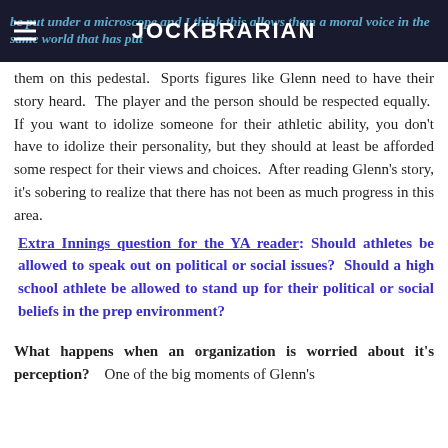JOCKBRARIAN
be put under a microscope and I think this allows them a moral voice in the same world that has put them on this pedestal. Sports figures like Glenn need to have their story heard. The player and the person should be respected equally. If you want to idolize someone for their athletic ability, you don't have to idolize their personality, but they should at least be afforded some respect for their views and choices. After reading Glenn's story, it's sobering to realize that there has not been as much progress in this area.
Extra Innings question for the YA reader: Should athletes be allowed to speak out on political or social issues? Should a high school athlete be allowed to stand up for their political or social beliefs in the prep environment?
What happens when an organization is worried about it's perception? One of the big moments of Glenn's